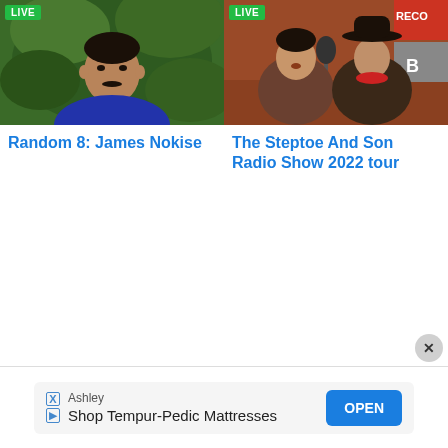[Figure (photo): Photo of James Nokise, a man in a blue jacket, with green foliage in background. LIVE badge in top left corner.]
Random 8: James Nokise
[Figure (photo): Photo of two people at what appears to be a radio recording session, one younger man and one older man with a cowboy hat and red scarf. LIVE badge in top left corner. Partial 'RECO' signage visible in background.]
The Steptoe And Son Radio Show 2022 tour
Ashley
Shop Tempur-Pedic Mattresses
OPEN